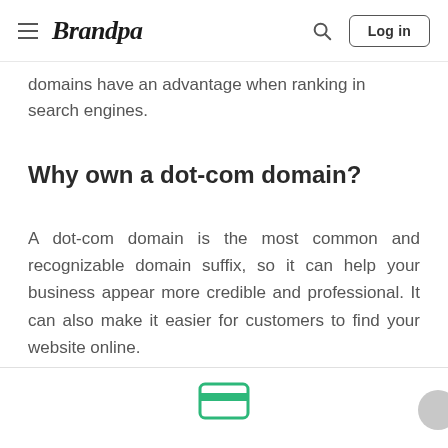Brandpa — navigation bar with hamburger menu, search icon, and Log in button
domains have an advantage when ranking in search engines.
Why own a dot-com domain?
A dot-com domain is the most common and recognizable domain suffix, so it can help your business appear more credible and professional. It can also make it easier for customers to find your website online.